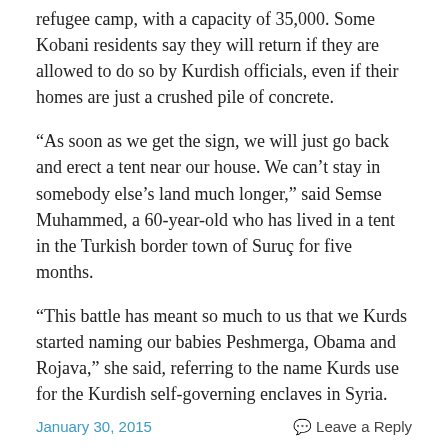refugee camp, with a capacity of 35,000. Some Kobani residents say they will return if they are allowed to do so by Kurdish officials, even if their homes are just a crushed pile of concrete.
“As soon as we get the sign, we will just go back and erect a tent near our house. We can’t stay in somebody else’s land much longer,” said Semse Muhammed, a 60-year-old who has lived in a tent in the Turkish border town of Suruç for five months.
“This battle has meant so much to us that we Kurds started naming our babies Peshmerga, Obama and Rojava,” she said, referring to the name Kurds use for the Kurdish self-governing enclaves in Syria.
January 30, 2015    Leave a Reply